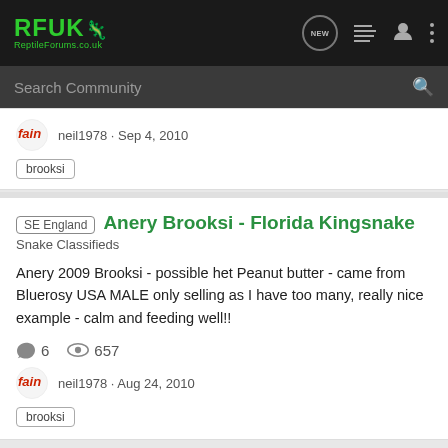[Figure (screenshot): RFUK Reptile Forums navigation bar with green logo and icons]
Search Community
neil1978 · Sep 4, 2010
brooksi
SE England  Anery Brooksi - Florida Kingsnake
Snake Classifieds
Anery 2009 Brooksi - possible het Peanut butter - came from Bluerosy USA MALE only selling as I have too many, really nice example - calm and feeding well!!
6  657
neil1978 · Aug 24, 2010
brooksi